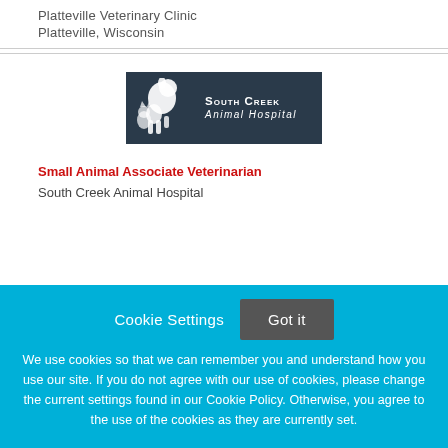Platteville Veterinary Clinic
Platteville, Wisconsin
[Figure (logo): South Creek Animal Hospital logo — dark slate background with white silhouette of a dog and cat, text reads 'South Creek Animal Hospital']
Small Animal Associate Veterinarian
South Creek Animal Hospital
Cookie Settings  Got it
We use cookies so that we can remember you and understand how you use our site. If you do not agree with our use of cookies, please change the current settings found in our Cookie Policy. Otherwise, you agree to the use of the cookies as they are currently set.